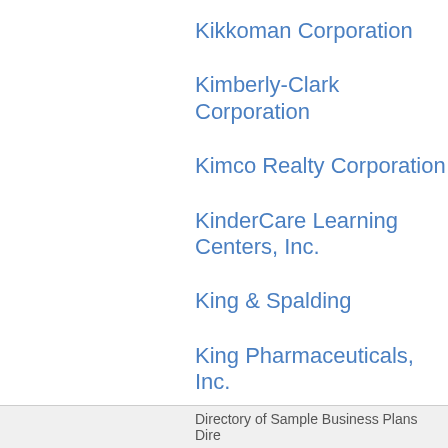Kikkoman Corporation
Kimberly-Clark Corporation
Kimco Realty Corporation
KinderCare Learning Centers, Inc.
King & Spalding
King Pharmaceuticals, Inc.
Directory of Sample Business Plans   Dire